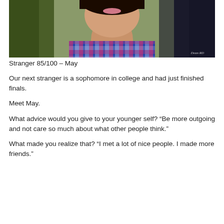[Figure (photo): Portrait photo of a young woman named May, smiling, wearing a pink and blue plaid shirt. Background is blurred greenery. Watermark 'Dean RD' in lower right corner.]
Stranger 85/100 – May
Our next stranger is a sophomore in college and had just finished finals.
Meet May.
What advice would you give to your younger self? “Be more outgoing and not care so much about what other people think.”
What made you realize that? “I met a lot of nice people. I made more friends.”